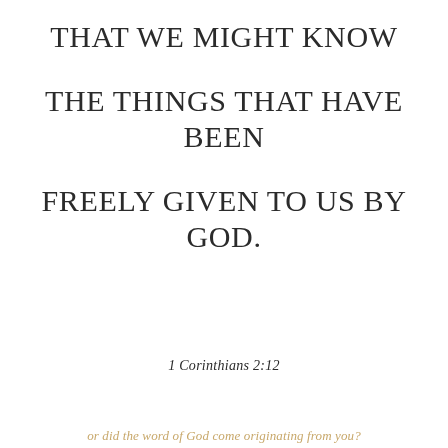THAT WE MIGHT KNOW

THE THINGS THAT HAVE BEEN

FREELY GIVEN TO US BY GOD.
1 Corinthians 2:12
or did the word of God come originating from you?